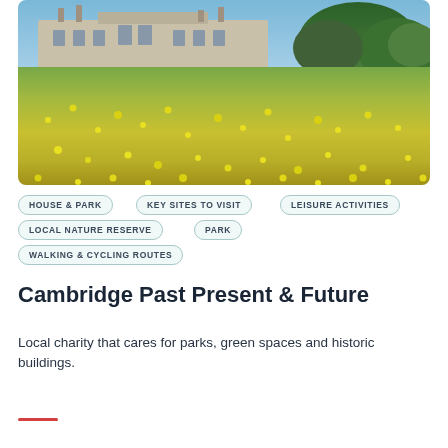[Figure (photo): Aerial photo of a historic English country house or estate building with stone facade, set in a large green meadow filled with yellow wildflowers (buttercups), with trees in the background under a blue sky.]
HOUSE & PARK
KEY SITES TO VISIT
LEISURE ACTIVITIES
LOCAL NATURE RESERVE
PARK
WALKING & CYCLING ROUTES
Cambridge Past Present & Future
Local charity that cares for parks, green spaces and historic buildings.